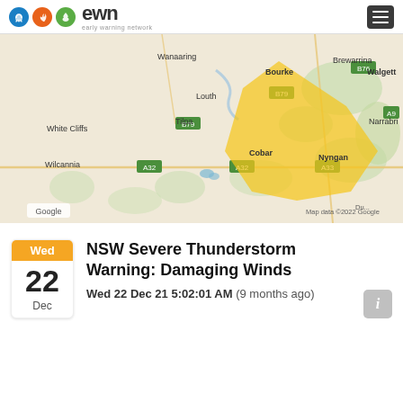EWN Early Warning Network
[Figure (map): Google Map showing NSW region around Bourke, Cobar, and Nyngan with a yellow polygon highlighting a severe thunderstorm warning area. Towns visible include Wanaaring, Bourke, Brewarrina, Walgett, Louth, Tilpa, White Cliffs, Wilcannia, Cobar, Nyngan, Narrabri. Map data 2022 Google.]
NSW Severe Thunderstorm Warning: Damaging Winds
Wed 22 Dec 21 5:02:01 AM (9 months ago)